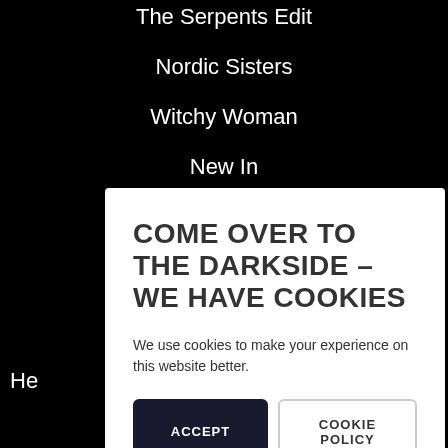The Serpents Edit
Nordic Sisters
Witchy Woman
New In
Stainless Steel
COME OVER TO THE DARKSIDE – WE HAVE COOKIES
We use cookies to make your experience on this website better.
ACCEPT
COOKIE POLICY